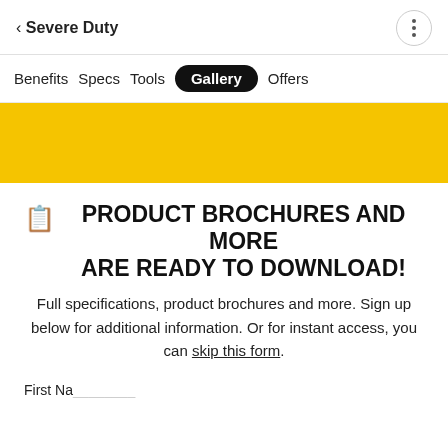< Severe Duty
Benefits   Specs   Tools   Gallery   Offers
[Figure (other): Yellow banner background strip]
PRODUCT BROCHURES AND MORE ARE READY TO DOWNLOAD!
Full specifications, product brochures and more. Sign up below for additional information. Or for instant access, you can skip this form.
First Na...